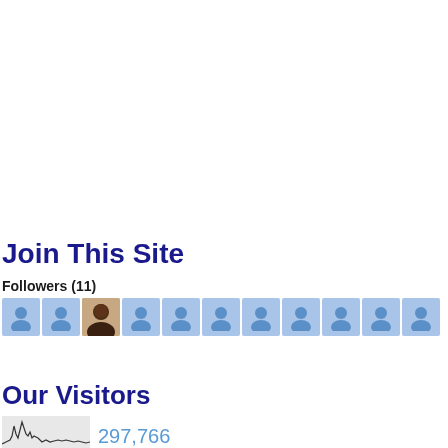Join This Site
Followers (11)
[Figure (illustration): Row of 11 follower avatar icons. 10 generic blue person icons and 1 photo of a person.]
Follow
Our Visitors
[Figure (continuous-plot): Small visitor traffic waveform/sparkline chart showing spiky traffic data]
297,766